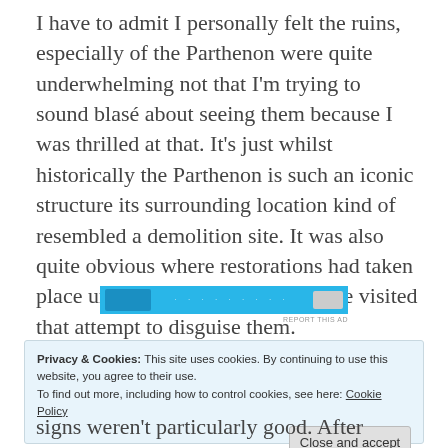I have to admit I personally felt the ruins, especially of the Parthenon were quite underwhelming not that I'm trying to sound blasé about seeing them because I was thrilled at that. It's just whilst historically the Parthenon is such an iconic structure its surrounding location kind of resembled a demolition site. It was also quite obvious where restorations had taken place unlike other ancients sites I've visited that attempt to disguise them.
[Figure (other): Advertisement banner with blue background, small icons on left and right, dots in center]
Privacy & Cookies: This site uses cookies. By continuing to use this website, you agree to their use.
To find out more, including how to control cookies, see here: Cookie Policy
Close and accept
signs weren't particularly good. After ending up where